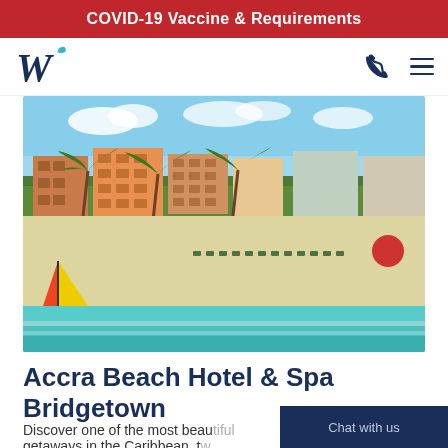COVID-19 Vaccine & Requirements
[Figure (logo): W logo for Worldhotels in dark navy blue italic serif font with decorative flourish]
[Figure (photo): Aerial photograph of Accra Beach Hotel & Spa in Bridgetown, Barbados, showing the beach with colorful sailboat, rows of beach chairs and umbrellas, resort buildings, palm trees and lush greenery, with turquoise Caribbean ocean in foreground]
Accra Beach Hotel & Spa Bridgetown
Discover one of the most beautiful getaways in the Caribbean, tw...